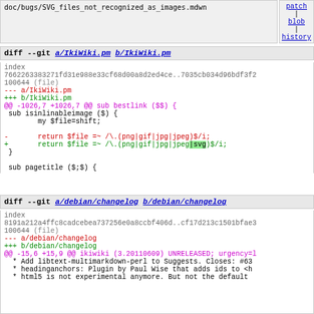doc/bugs/SVG_files_not_recognized_as_images.mdwn
patch | blob | history
diff --git a/IkiWiki.pm b/IkiWiki.pm
index 7662263383271fd31e988e33cf68d00a8d2ed4ce..7035cb034d96bdf3f2
100644 (file)
--- a/IkiWiki.pm
+++ b/IkiWiki.pm
@@ -1026,7 +1026,7 @@ sub bestlink ($$) {
 sub isinlinableimage ($) {
        my $file=shift;

-       return $file =~ /\.(png|gif|jpg|jpeg)$/i;
+       return $file =~ /\.(png|gif|jpg|jpeg|svg)$/i;
 }

 sub pagetitle ($;$) {
diff --git a/debian/changelog b/debian/changelog
index 8191a212a4ffc8cadcebea737256e0a8ccbf406d..cf17d213c1501bfae3
100644 (file)
--- a/debian/changelog
+++ b/debian/changelog
@@ -15,6 +15,9 @@ ikiwiki (3.20110609) UNRELEASED; urgency=l
   * Add libtext-multimarkdown-perl to Suggests. Closes: #63
   * headinganchors: Plugin by Paul Wise that adds ids to <h
   * html5 is not experimental anymore. But not the default